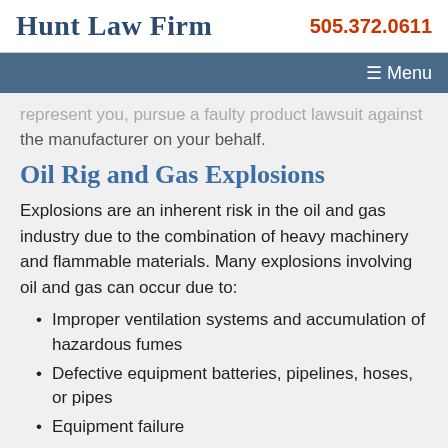Hunt Law Firm | 505.372.0611
represent you, pursue a faulty product lawsuit against the manufacturer on your behalf.
Oil Rig and Gas Explosions
Explosions are an inherent risk in the oil and gas industry due to the combination of heavy machinery and flammable materials. Many explosions involving oil and gas can occur due to:
Improper ventilation systems and accumulation of hazardous fumes
Defective equipment batteries, pipelines, hoses, or pipes
Equipment failure